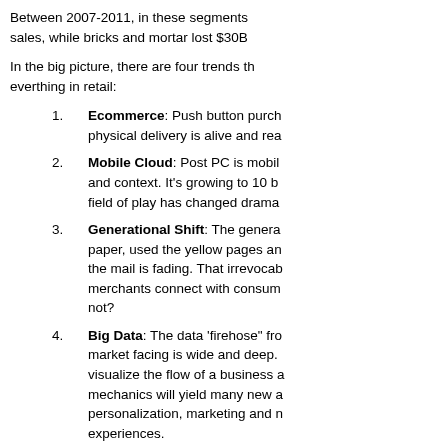Between 2007-2011, in these segments sales, while bricks and mortar lost $30B
In the big picture, there are four trends th everthing in retail:
Ecommerce: Push button purch physical delivery is alive and rea
Mobile Cloud: Post PC is mobil and context. It's growing to 10 b field of play has changed drama
Generational Shift: The genera paper, used the yellow pages an the mail is fading. That irrevocab merchants connect with consum not?
Big Data: The data 'firehose" fr market facing is wide and deep. visualize the flow of a business mechanics will yield many new a personalization, marketing and n experiences.